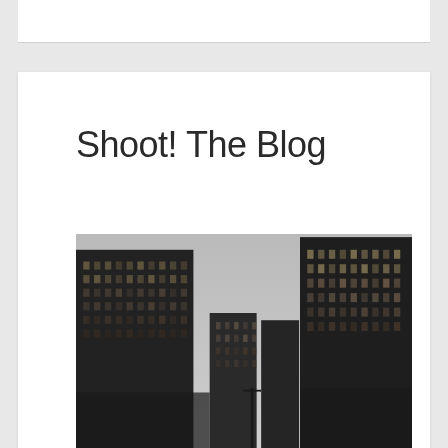Shoot! The Blog
[Figure (photo): Black and white photograph looking up between tall dark urban skyscrapers/office buildings against an overcast grey sky]